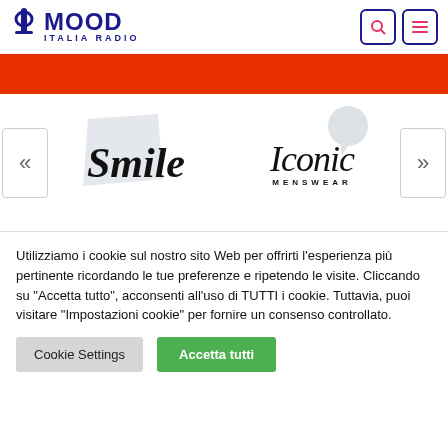[Figure (logo): Mood Italia Radio logo with microphone icon and dark blue text]
[Figure (screenshot): Red banner/header bar below navigation]
[Figure (screenshot): Slider section with Smile and Iconic Menswear logos, left and right navigation arrows]
Utilizziamo i cookie sul nostro sito Web per offrirti l'esperienza più pertinente ricordando le tue preferenze e ripetendo le visite. Cliccando su "Accetta tutto", acconsenti all'uso di TUTTI i cookie. Tuttavia, puoi visitare "Impostazioni cookie" per fornire un consenso controllato.
Cookie Settings
Accetta tutti